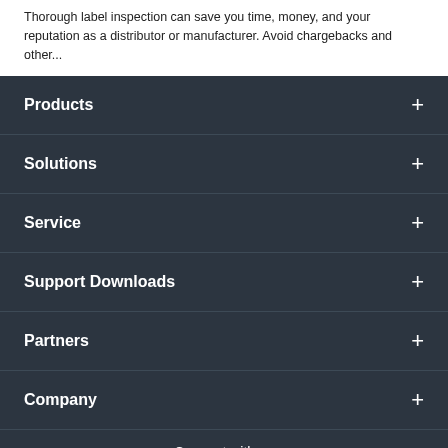Thorough label inspection can save you time, money, and your reputation as a distributor or manufacturer. Avoid chargebacks and other...
Products
Solutions
Service
Support Downloads
Partners
Company
Connect with us
[Figure (illustration): Social media icons row: circular icon, Facebook icon, YouTube icon, X (Twitter) icon]